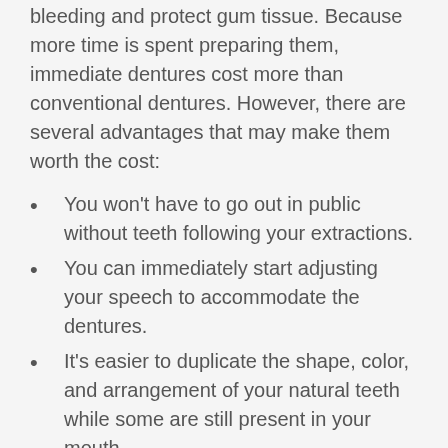bleeding and protect gum tissue. Because more time is spent preparing them, immediate dentures cost more than conventional dentures. However, there are several advantages that may make them worth the cost:
You won't have to go out in public without teeth following your extractions.
You can immediately start adjusting your speech to accommodate the dentures.
It's easier to duplicate the shape, color, and arrangement of your natural teeth while some are still present in your mouth.